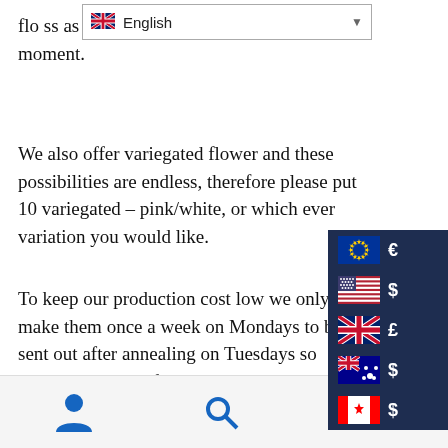flo…ss as we can't get the glass at the moment.
We also offer variegated flower and these possibilities are endless, therefore please put 10 variegated – pink/white, or which ever variation you would like.
To keep our production cost low we only make them once a week on Mondays to be sent out after annealing on Tuesdays so please be aware of this possible delay when ordering, if ordered as part of a larger order we will hold all of it until the Flowers are ready to go.
The medium flowers are about 15mm, they are the same price as the small ones as it's less about the